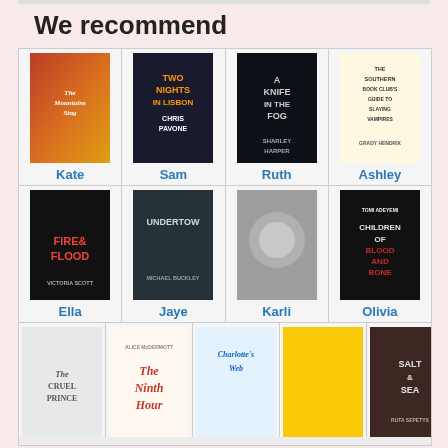We recommend
[Figure (illustration): Grid of book cover recommendations with names. Row 1: The Mountains Sing (Kate), Two Nights in Lisbon by Chris Pavone (Sam), A Knife in the Fog by Sharley Harper (Ruth), The Southern Book Club's Guide to Slaying Vampires by Grady Hendrix (Ashley). Row 2: Fire & Flood by Victoria Scott (Ella), Undertow by Michael Buckley (Jaye), Silver (Karli), Children of Blood and Bone by Tomi Adeyemi (Olivia). Row 3 (partial): The Cruel Prince, The Ninth Hour by Alice McDermott, Charlotte's Web, yellow cover book, Salt & Sea by Ruta Sepetys.]